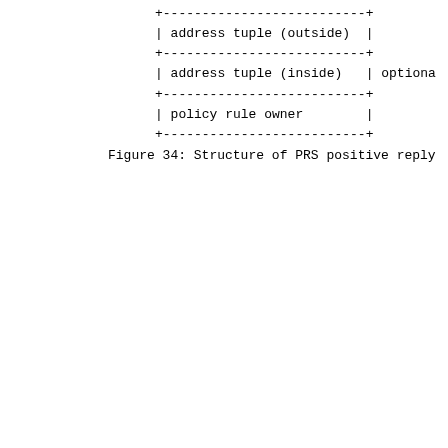[Figure (schematic): ASCII box diagram showing structure of PRS positive reply with three rows: 'address tuple (outside)', 'address tuple (inside) | optiona', 'policy rule owner']
Figure 34: Structure of PRS positive reply